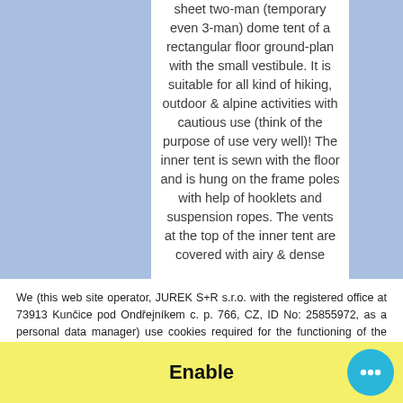sheet two-man (temporary even 3-man) dome tent of a rectangular floor ground-plan with the small vestibule. It is suitable for all kind of hiking, outdoor & alpine activities with cautious use (think of the purpose of use very well)! The inner tent is sewn with the floor and is hung on the frame poles with help of hooklets and suspension ropes. The vents at the top of the inner tent are covered with airy & dense
We (this web site operator, JUREK S+R s.r.o. with the registered office at 73913 Kunčice pod Ondřejníkem c. p. 766, CZ, ID No: 25855972, as a personal data manager) use cookies required for the functioning of the website, for analytical purposes on this website. By using our web you agree with saving cookies on your computer / device. Settings of cookies may be changed in the settings of your browser.
Enable